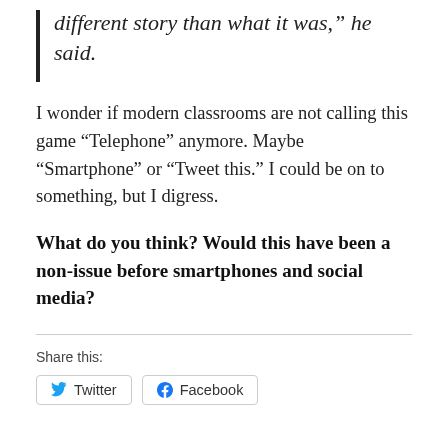different story than what it was," he said.
I wonder if modern classrooms are not calling this game “Telephone” anymore. Maybe “Smartphone” or “Tweet this.” I could be on to something, but I digress.
What do you think? Would this have been a non-issue before smartphones and social media?
Share this:
Twitter  Facebook